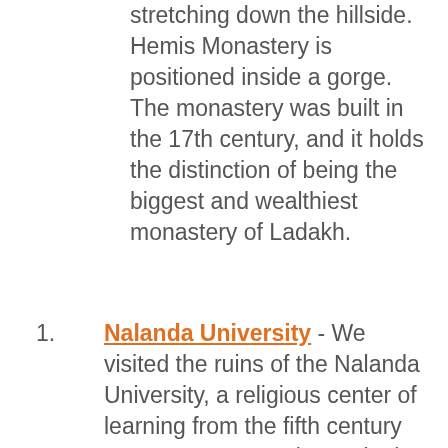stretching down the hillside. Hemis Monastery is positioned inside a gorge. The monastery was built in the 17th century, and it holds the distinction of being the biggest and wealthiest monastery of Ladakh.
Nalanda University - We visited the ruins of the Nalanda University, a religious center of learning from the fifth century AD to 1197 AD. At its peak, the university attracted 10,000